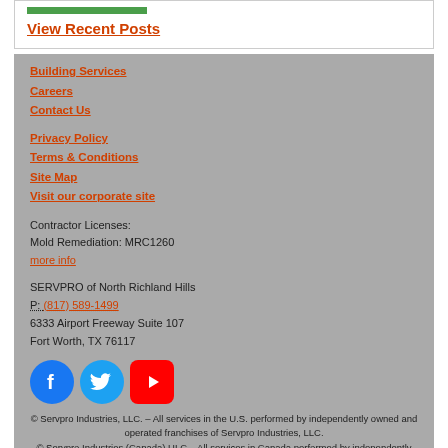[Figure (other): Green horizontal bar decoration]
View Recent Posts
Building Services
Careers
Contact Us
Privacy Policy
Terms & Conditions
Site Map
Visit our corporate site
Contractor Licenses:
Mold Remediation: MRC1260
more info
SERVPRO of North Richland Hills
P: (817) 589-1499
6333 Airport Freeway Suite 107
Fort Worth, TX 76117
[Figure (other): Social media icons: Facebook, Twitter, YouTube]
© Servpro Industries, LLC. – All services in the U.S. performed by independently owned and operated franchises of Servpro Industries, LLC.
© Servpro Industries (Canada) ULC – All services in Canada performed by independently owned and operated franchises of Servpro Industries (Canada) ULC.